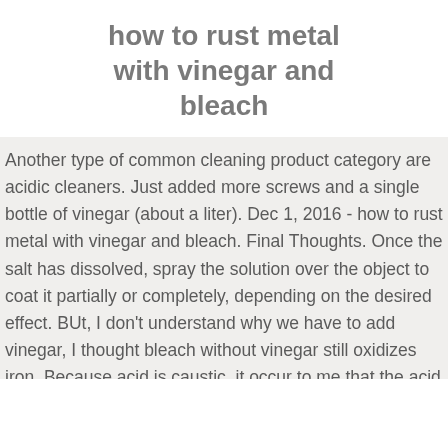how to rust metal with vinegar and bleach
Another type of common cleaning product category are acidic cleaners. Just added more screws and a single bottle of vinegar (about a liter). Dec 1, 2016 - how to rust metal with vinegar and bleach. Final Thoughts. Once the salt has dissolved, spray the solution over the object to coat it partially or completely, depending on the desired effect. BUt, I don't understand why we have to add vinegar, I thought bleach without vinegar still oxidizes iron. Because acid is caustic, it occur to me that the acid could eat the rust discoloration from metal. Set items outside to dry and turn them occasionally, so all sides dry. Hey Veronica, we haven't actually used the Rustoleum Enamel Clear Sealer on exterior items. The good news is that it worked. For more stubborn rust, try using white vinegar. Saved by Shelley Creed. If you have a large flat pan that holds the screws, you can let them sit in vinegar. You should also let solution